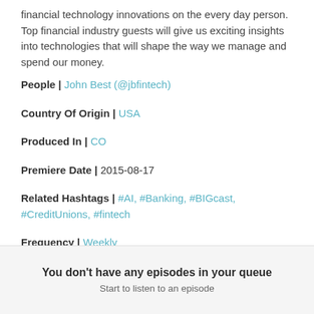financial technology innovations on the every day person. Top financial industry guests will give us exciting insights into technologies that will shape the way we manage and spend our money.
People | John Best (@jbfintech)
Country Of Origin | USA
Produced In | CO
Premiere Date | 2015-08-17
Related Hashtags | #AI, #Banking, #BIGcast, #CreditUnions, #fintech
Frequency | Weekly
Explicit | No
You don't have any episodes in your queue
Start to listen to an episode